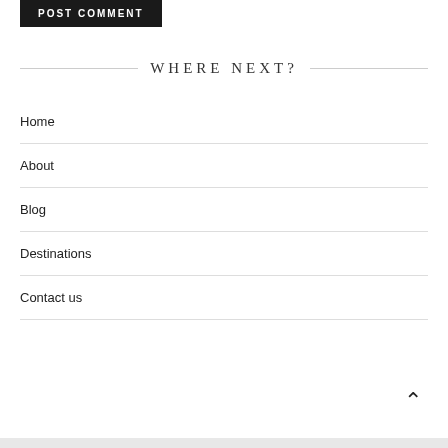POST COMMENT
WHERE NEXT?
Home
About
Blog
Destinations
Contact us